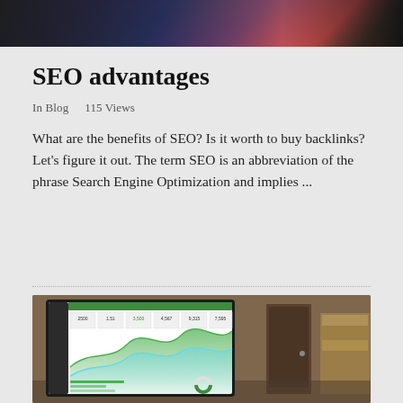[Figure (photo): Dark header image with colorful abstract background (dark blues, purples, oranges)]
SEO advantages
In Blog   115 Views
What are the benefits of SEO? Is it worth to buy backlinks? Let's figure it out. The term SEO is an abbreviation of the phrase Search Engine Optimization and implies ...
[Figure (photo): Laptop on a desk displaying an analytics dashboard with area charts showing green waves and statistics including numbers 2500, 1.51, 3,500, 4,567, 9,315, 7,595]